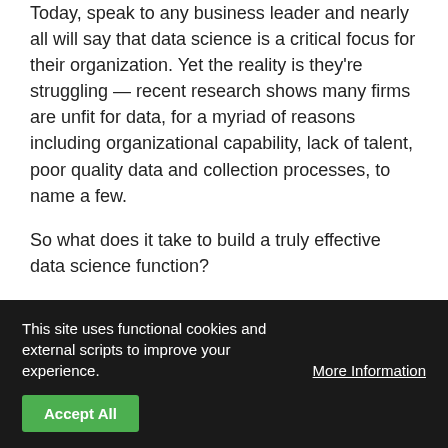Today, speak to any business leader and nearly all will say that data science is a critical focus for their organization. Yet the reality is they're struggling — recent research shows many firms are unfit for data, for a myriad of reasons including organizational capability, lack of talent, poor quality data and collection processes, to name a few.
So what does it take to build a truly effective data science function?
From understanding what it means to be a "data-driven" organization, to conducting successful data science projects, I've compiled the guide below using 16 FAQs I
This site uses functional cookies and external scripts to improve your experience.   More Information
Accept All